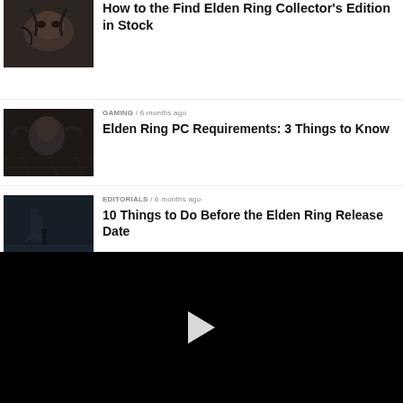[Figure (screenshot): Thumbnail image of a dark monster creature for Elden Ring article]
How to the Find Elden Ring Collector's Edition in Stock
[Figure (screenshot): Thumbnail image of dark creature on stone floor for Elden Ring PC Requirements article]
GAMING / 6 months ago
Elden Ring PC Requirements: 3 Things to Know
[Figure (screenshot): Thumbnail image of dark atmospheric ruins scene for Elden Ring editorial article]
EDITORIALS / 6 months ago
10 Things to Do Before the Elden Ring Release Date
[Figure (screenshot): Thumbnail image partially visible for another Gaming article]
GAMING / 6 months ago
[Figure (screenshot): Black video player area with a white play button triangle in the center]